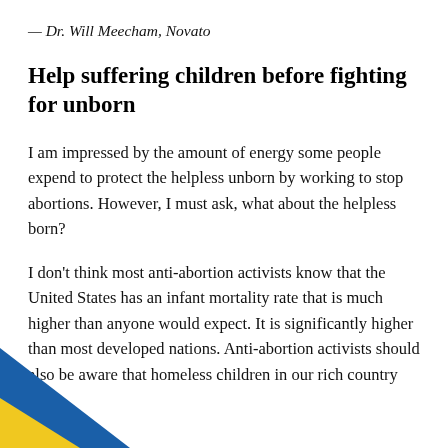— Dr. Will Meecham, Novato
Help suffering children before fighting for unborn
I am impressed by the amount of energy some people expend to protect the helpless unborn by working to stop abortions. However, I must ask, what about the helpless born?
I don't think most anti-abortion activists know that the United States has an infant mortality rate that is much higher than anyone would expect. It is significantly higher than most developed nations. Anti-abortion activists should also be aware that homeless children in our rich country are
[Figure (illustration): Blue and yellow diagonal banner/ribbon in the bottom-left corner of the page]